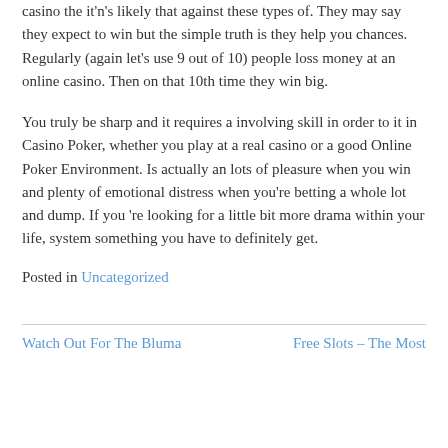casino the it'n's likely that against these types of. They may say they expect to win but the simple truth is they help you chances. Regularly (again let's use 9 out of 10) people loss money at an online casino. Then on that 10th time they win big.
You truly be sharp and it requires a involving skill in order to it in Casino Poker, whether you play at a real casino or a good Online Poker Environment. Is actually an lots of pleasure when you win and plenty of emotional distress when you're betting a whole lot and dump. If you 're looking for a little bit more drama within your life, system something you have to definitely get.
Posted in Uncategorized
Watch Out For The Bluma
Free Slots – The Most